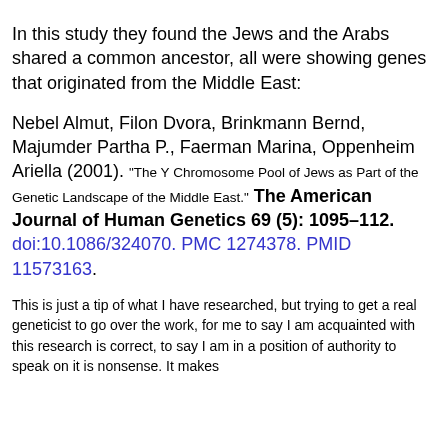In this study they found the Jews and the Arabs shared a common ancestor, all were showing genes that originated from the Middle East:
Nebel Almut, Filon Dvora, Brinkmann Bernd, Majumder Partha P., Faerman Marina, Oppenheim Ariella (2001). "The Y Chromosome Pool of Jews as Part of the Genetic Landscape of the Middle East." The American Journal of Human Genetics 69 (5): 1095–112. doi:10.1086/324070. PMC 1274378. PMID 11573163.
This is just a tip of what I have researched, but trying to get a real geneticist to go over the work, for me to say I am acquainted with this research is correct, to say I am in a position of authority to speak on it is nonsense. It makes